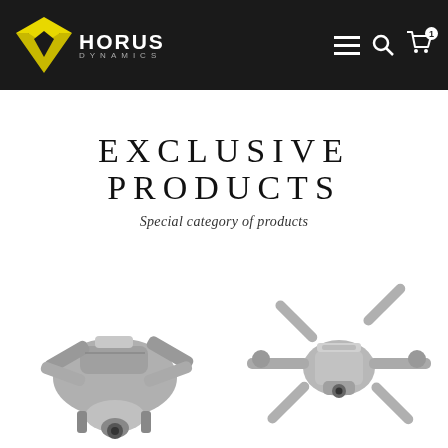[Figure (logo): Horus Dynamics logo: yellow downward-pointing triangle/chevron shape with 'HORUS' in white bold text and 'DYNAMICS' in smaller spaced gray letters, on dark background header]
Horus Dynamics navigation header with hamburger menu, search icon, and cart icon (1 item)
EXCLUSIVE PRODUCTS
Special category of products
[Figure (photo): Gray folded DJI-style quadcopter drone shown from side/front angle, folded compact position]
[Figure (photo): Gray DJI-style quadcopter drone shown from top/front view with arms extended and propellers visible]